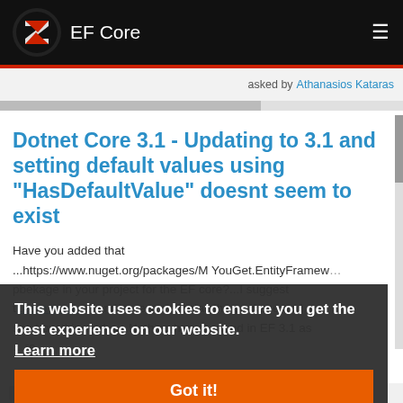EF Core
asked by Athanasios Kataras
Dotnet Core 3.1 - Updating to 3.1 and setting default values using "HasDefaultValue" doesnt seem to exist
Have you added that ...https://www.nuget.org/packages/M YouGet.EntityFramework... pbekage in your project for the EF core?...I suggest t...all and/or remove/install the package and see how this works....Nothing has changed in EF 3.1 as ...re
This website uses cookies to ensure you get the best experience on our website. Learn more
Got it!